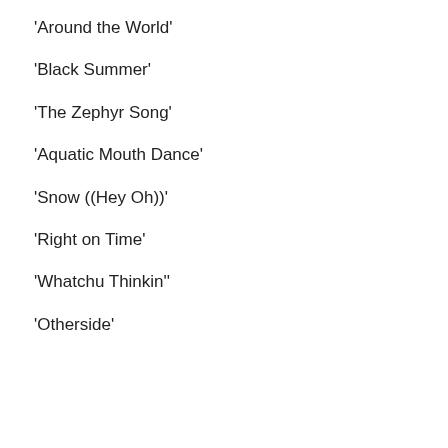‘Around the World’
‘Black Summer’
‘The Zephyr Song’
‘Aquatic Mouth Dance’
‘Snow ((Hey Oh))’
‘Right on Time’
‘Whatchu Thinkin’’
‘Otherside’